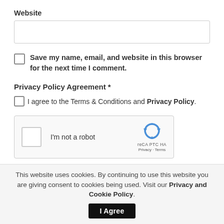Website
Save my name, email, and website in this browser for the next time I comment.
Privacy Policy Agreement *
I agree to the Terms & Conditions and Privacy Policy.
[Figure (screenshot): reCAPTCHA widget with 'I'm not a robot' checkbox and reCAPTCHA logo with Privacy and Terms links]
This website uses cookies. By continuing to use this website you are giving consent to cookies being used. Visit our Privacy and Cookie Policy.